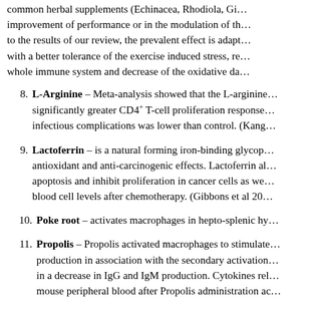common herbal supplements (Echinacea, Rhodiola, Gi… improvement of performance or in the modulation of th… to the results of our review, the prevalent effect is adapt… with a better tolerance of the exercise induced stress, re… whole immune system and decrease of the oxidative da…
8. L-Arginine – Meta-analysis showed that the L-arginine… significantly greater CD4+ T-cell proliferation response… infectious complications was lower than control. (Kang…
9. Lactoferrin – is a natural forming iron-binding glycop… antioxidant and anti-carcinogenic effects. Lactoferrin al… apoptosis and inhibit proliferation in cancer cells as we… blood cell levels after chemotherapy. (Gibbons et al 20…
10. Poke root – activates macrophages in hepto-splenic hy…
11. Propolis – Propolis activated macrophages to stimulate… production in association with the secondary activation… in a decrease in IgG and IgM production. Cytokines rel… mouse peripheral blood after Propolis administration ac…